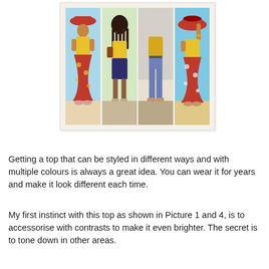[Figure (photo): A collage of four fashion photos showing a woman wearing a yellow top styled in different ways: Photo 1 - yellow top with red floral skirt and red hat; Photo 2 - yellow top with dark shorts, back view; Photo 3 - yellow top with blue trousers; Photo 4 - yellow top with red floral skirt and red hat held up.]
Getting a top that can be styled in different ways and with multiple colours is always a great idea. You can wear it for years and make it look different each time.
My first instinct with this top as shown in Picture 1 and 4, is to accessorise with contrasts to make it even brighter. The secret is to tone down in other areas.